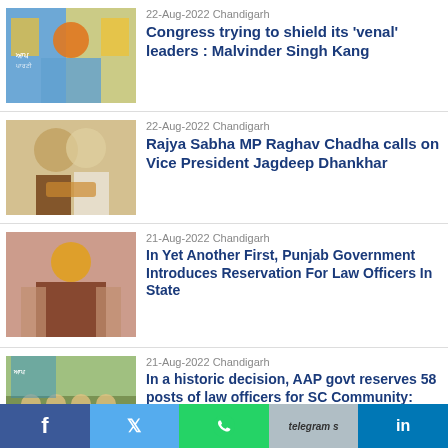[Figure (photo): Man in orange turban speaking, AAP party banners in background]
22-Aug-2022 Chandigarh
Congress trying to shield its ‘venal’ leaders : Malvinder Singh Kang
[Figure (photo): Two men exchanging award or gift, formal attire]
22-Aug-2022 Chandigarh
Rajya Sabha MP Raghav Chadha calls on Vice President Jagdeep Dhankhar
[Figure (photo): Man in yellow turban and brown suit speaking at podium]
21-Aug-2022 Chandigarh
In Yet Another First, Punjab Government Introduces Reservation For Law Officers In State
[Figure (photo): Group of people seated at table outdoors, AAP banners in background]
21-Aug-2022 Chandigarh
In a historic decision, AAP govt reserves 58 posts of law officers for SC Community: Harpal Singh Cheema